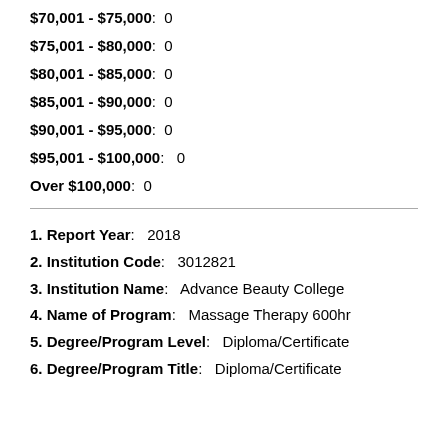$70,001 - $75,000:  0
$75,001 - $80,000:  0
$80,001 - $85,000:  0
$85,001 - $90,000:  0
$90,001 - $95,000:  0
$95,001 - $100,000:  0
Over $100,000:  0
1. Report Year:  2018
2. Institution Code:  3012821
3. Institution Name:  Advance Beauty College
4. Name of Program:  Massage Therapy 600hr
5. Degree/Program Level:  Diploma/Certificate
6. Degree/Program Title:  Diploma/Certificate